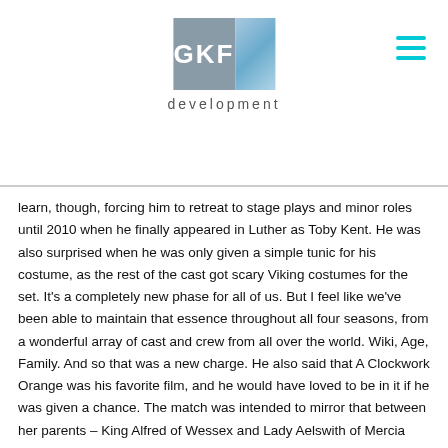[Figure (logo): GKF development logo — grey square with white GKF text next to a blue gradient rectangle, with 'development' text below]
learn, though, forcing him to retreat to stage plays and minor roles until 2010 when he finally appeared in Luther as Toby Kent. He was also surprised when he was only given a simple tunic for his costume, as the rest of the cast got scary Viking costumes for the set. It's a completely new phase for all of us. But I feel like we've been able to maintain that essence throughout all four seasons, from a wonderful array of cast and crew from all over the world. Wiki, Age, Family. And so that was a new charge. He also said that A Clockwork Orange was his favorite film, and he would have loved to be in it if he was given a chance. The match was intended to mirror that between her parents – King Alfred of Wessex and Lady Aelswith of Mercia (David Dawson and Eliza Butterworth) – and … David Dawson is an ardent researcher and lover